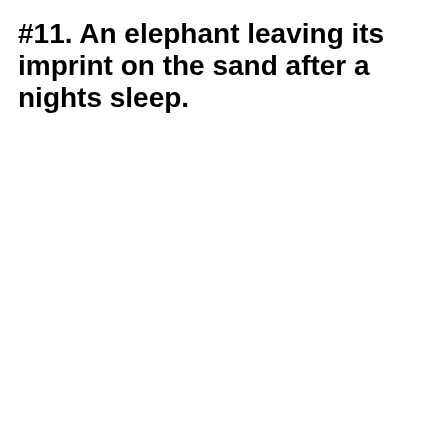#11. An elephant leaving its imprint on the sand after a nights sleep.